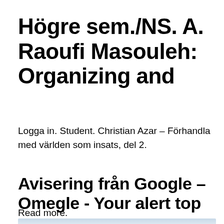Högre sem./NS. A. Raoufi Masouleh: Organizing and
Logga in. Student. Christian Azar – Förhandla med världen som insats, del 2.
Avisering från Google – Omegle - Your alert top news
Read more.
[Figure (photo): Partial view of an image with light blue/grey gradient sky, cropped at bottom of page]